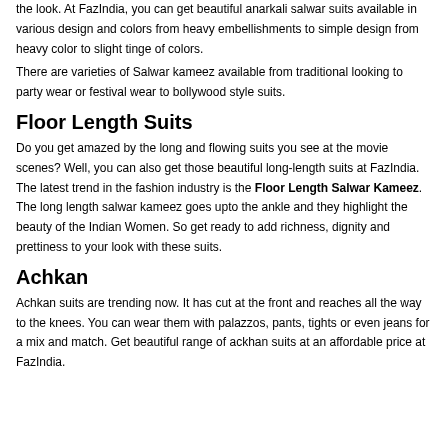the look. At FazIndia, you can get beautiful anarkali salwar suits available in various design and colors from heavy embellishments to simple design from heavy color to slight tinge of colors.
There are varieties of Salwar kameez available from traditional looking to party wear or festival wear to bollywood style suits.
Floor Length Suits
Do you get amazed by the long and flowing suits you see at the movie scenes? Well, you can also get those beautiful long-length suits at FazIndia. The latest trend in the fashion industry is the Floor Length Salwar Kameez. The long length salwar kameez goes upto the ankle and they highlight the beauty of the Indian Women. So get ready to add richness, dignity and prettiness to your look with these suits.
Achkan
Achkan suits are trending now. It has cut at the front and reaches all the way to the knees. You can wear them with palazzos, pants, tights or even jeans for a mix and match. Get beautiful range of ackhan suits at an affordable price at FazIndia.